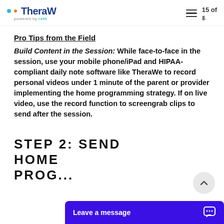TheraW powered by reth — 15 of [page number]
Pro Tips from the Field
Build Content in the Session: While face-to-face in the session, use your mobile phone/iPad and HIPAA-compliant daily note software like TheraWe to record personal videos under 1 minute of the parent or provider implementing the home programming strategy. If on live video, use the record function to screengrab clips to send after the session.
STEP 2: SEND HOME PROG...